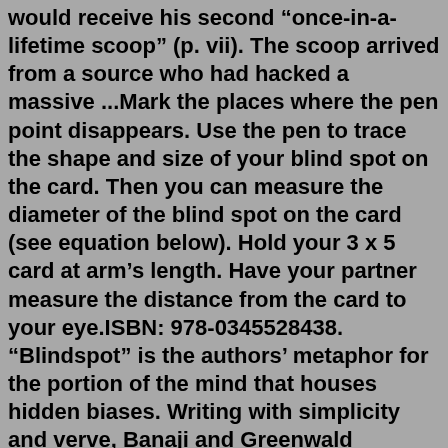would receive his second "once-in-a-lifetime scoop" (p. vii). The scoop arrived from a source who had hacked a massive ...Mark the places where the pen point disappears. Use the pen to trace the shape and size of your blind spot on the card. Then you can measure the diameter of the blind spot on the card (see equation below). Hold your 3 x 5 card at arm's length. Have your partner measure the distance from the card to your eye.ISBN: 978-0345528438. “Blindspot” is the authors’ metaphor for the portion of the mind that houses hidden biases. Writing with simplicity and verve, Banaji and Greenwald question the extent to which our perceptions of social groups—without our awareness or conscious control—shape our likes and dislikes and our judgments about people ... Here's seven things we learned at the Comic-Con panel for Blindspot, which airs on Monday nights this fall on NBC: 1. The 200+ tattoos take seven hours to apply by three tattoo artists. "I'm ...Aug 27, 2019 · New York Times bestseller Brenda Novak's Evelyn Talbot series returns, with a heavily pregnant Evelyn